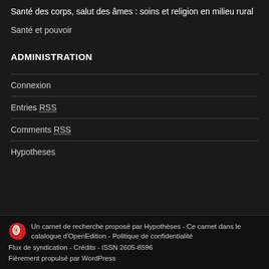Santé des corps, salut des âmes : soins et religion en milieu rural
Santé et pouvoir
ADMINISTRATION
Connexion
Entries RSS
Comments RSS
Hypotheses
Un carnet de recherche proposé par Hypothèses - Ce carnet dans le catalogue d'OpenEdition - Politique de confidentialité Flux de syndication - Crédits - ISSN 2605-8596 Fièrement propulsé par WordPress